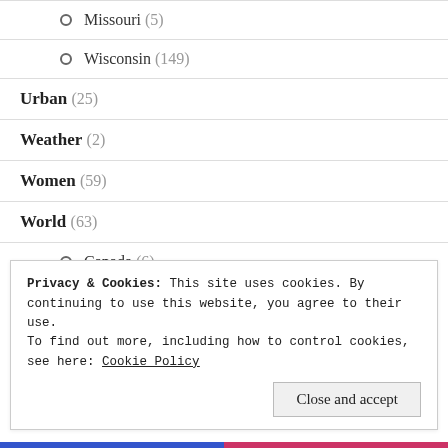Missouri (5)
Wisconsin (149)
Urban (25)
Weather (2)
Women (59)
World (63)
Canada (6)
Privacy & Cookies: This site uses cookies. By continuing to use this website, you agree to their use. To find out more, including how to control cookies, see here: Cookie Policy
Close and accept